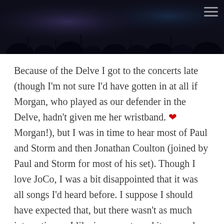[Figure (photo): Dark concert/event photo showing a crowd in dim lighting with a menu/hamburger icon in the top right corner]
Because of the Delve I got to the concerts late (though I'm not sure I'd have gotten in at all if Morgan, who played as our defender in the Delve, hadn't given me her wristband. ❤ Morgan!), but I was in time to hear most of Paul and Storm and then Jonathan Coulton (joined by Paul and Storm for most of his set). Though I love JoCo, I was a bit disappointed that it was all songs I'd heard before. I suppose I should have expected that, but there wasn't as much interaction as I like in concerts and it was only OK.
Until he sang They Might Be Giants, or did an awesome electronica remix thing that included